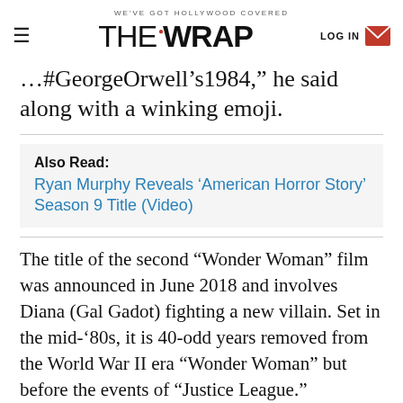WE'VE GOT HOLLYWOOD COVERED | THE WRAP | LOG IN
...#GeorgeOrwell’s1984,” he said along with a winking emoji.
Also Read: Ryan Murphy Reveals ‘American Horror Story’ Season 9 Title (Video)
The title of the second “Wonder Woman” film was announced in June 2018 and involves Diana (Gal Gadot) fighting a new villain. Set in the mid-’80s, it is 40-odd years removed from the World War II era “Wonder Woman” but before the events of “Justice League.”